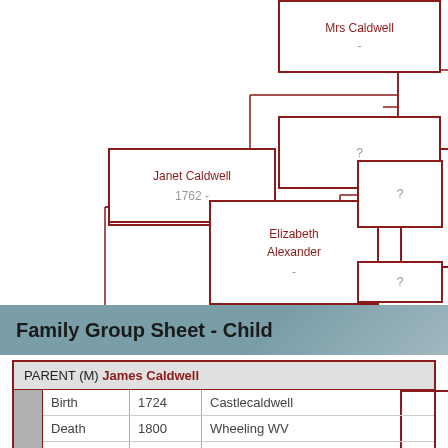[Figure (organizational-chart): Genealogy ancestry tree showing Janet Caldwell (1762-), Elizabeth Alexander (-), Mrs Caldwell (-), and two unknown (?) ancestors connected by bracket lines]
Family Group Sheet - Child
|  | Event | Year | Place |
| --- | --- | --- | --- |
| PARENT (M) James Caldwell |  |  |  |
|  | Birth | 1724 | Castlecaldwell |
|  | Death | 1800 | Wheeling WV |